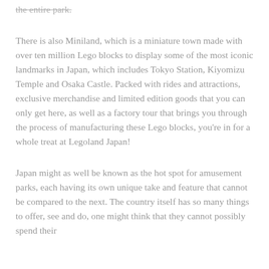the entire park.
There is also Miniland, which is a miniature town made with over ten million Lego blocks to display some of the most iconic landmarks in Japan, which includes Tokyo Station, Kiyomizu Temple and Osaka Castle. Packed with rides and attractions, exclusive merchandise and limited edition goods that you can only get here, as well as a factory tour that brings you through the process of manufacturing these Lego blocks, you're in for a whole treat at Legoland Japan!
Japan might as well be known as the hot spot for amusement parks, each having its own unique take and feature that cannot be compared to the next. The country itself has so many things to offer, see and do, one might think that they cannot possibly spend their